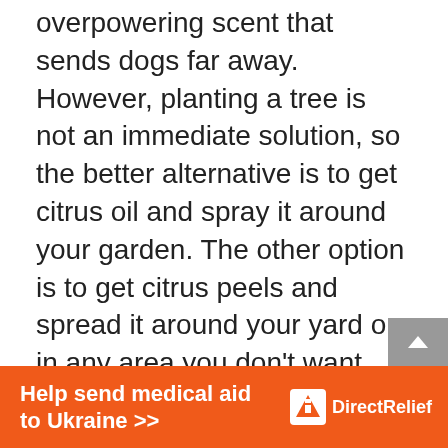overpowering scent that sends dogs far away. However, planting a tree is not an immediate solution, so the better alternative is to get citrus oil and spray it around your garden. The other option is to get citrus peels and spread it around your yard or in any area you don't want your dog to be found.
Marigolds: these are beautiful flowers that come out in yellow or orange. They have strong odors that send off a lot of animals away from them. They don't only repel dogs; they can also send cats, rabbits, and even deer away from
[Figure (infographic): Orange advertisement banner reading 'Help send medical aid to Ukraine >>' with Direct Relief logo on the right]